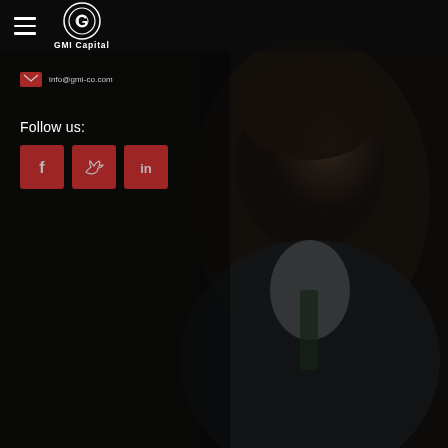[Figure (logo): GMI Capital logo with circular G icon and company name in white on dark header bar]
[Figure (photo): Dark-toned background photo of a smiling businessman in a suit and tie, seated, dark overlay applied]
info@gmi-co.com
Follow us:
[Figure (infographic): Three red square social media icon buttons: Facebook (f), Twitter (bird), LinkedIn (in)]